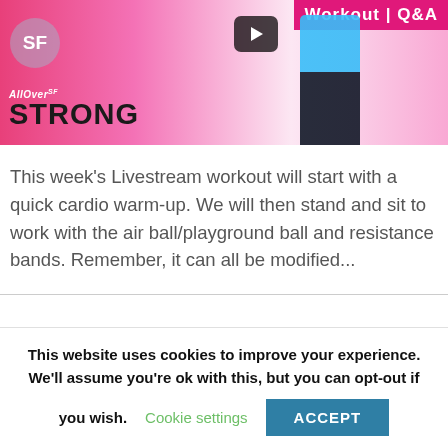[Figure (screenshot): Fitness video thumbnail showing 'All Over SF Strong' workout Q&A livestream. Pink background with woman in blue top and black pants, SF circle logo, play button, and 'Workout | Q&A' text in top right.]
This week's Livestream workout will start with a quick cardio warm-up. We will then stand and sit to work with the air ball/playground ball and resistance bands. Remember, it can all be modified...
This website uses cookies to improve your experience. We'll assume you're ok with this, but you can opt-out if you wish. Cookie settings ACCEPT